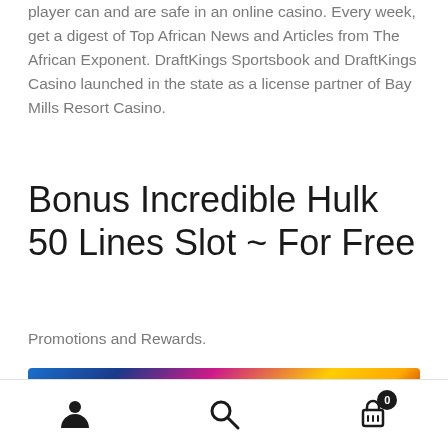player can and are safe in an online casino. Every week, get a digest of Top African News and Articles from The African Exponent. DraftKings Sportsbook and DraftKings Casino launched in the state as a license partner of Bay Mills Resort Casino.
Bonus Incredible Hulk 50 Lines Slot ~ For Free
Promotions and Rewards.
[Figure (photo): Colorful casino slot machine banner image with yellow, red, and blue colors, partially showing the word MOND]
Navigation bar with person icon, search icon, and cart icon with badge showing 0